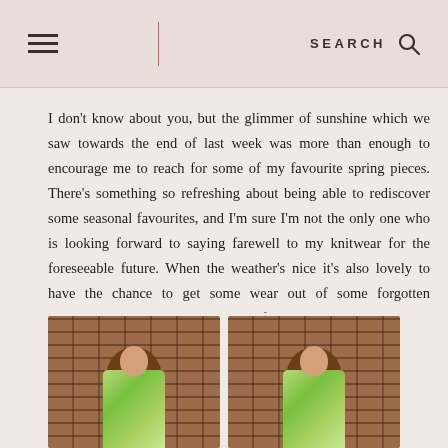≡  |  SEARCH  🔍
I don't know about you, but the glimmer of sunshine which we saw towards the end of last week was more than enough to encourage me to reach for some of my favourite spring pieces. There's something so refreshing about being able to rediscover some seasonal favourites, and I'm sure I'm not the only one who is looking forward to saying farewell to my knitwear for the foreseeable future. When the weather's nice it's also lovely to have the chance to get some wear out of some forgotten purchases, as I did towards the end of last week:
[Figure (photo): Two side-by-side photos of a young woman with long brown hair wearing a floral green jacket and pink dress, standing in front of a brick wall]